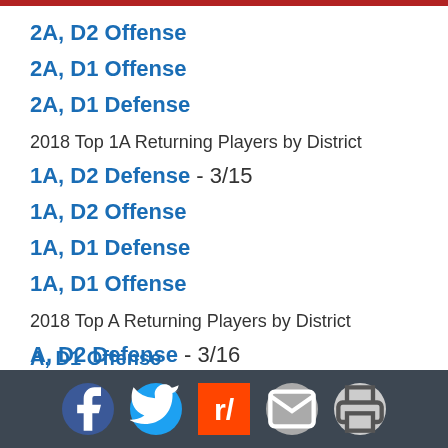2A, D2 Offense
2A, D1 Offense
2A, D1 Defense
2018 Top 1A Returning Players by District
1A, D2 Defense - 3/15
1A, D2 Offense
1A, D1 Defense
1A, D1 Offense
2018 Top A Returning Players by District
A, D2 Defense - 3/16
A, D2 Offense
A, D1 Defense
A, D1 Offense
2018 Top 8-Man Returning Players by District
Social share buttons: Facebook, Twitter, Reddit, Email, Print